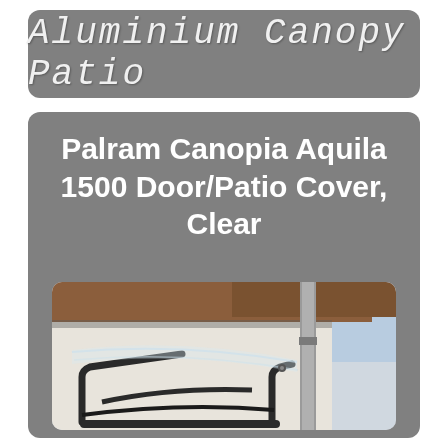Aluminium Canopy Patio
Palram Canopia Aquila 1500 Door/Patio Cover, Clear
[Figure (photo): Photo of a Palram Canopia Aquila 1500 door/patio cover installed on a building exterior wall, showing clear polycarbonate roof panel with dark grey aluminium frame brackets, with a drainpipe and wooden eaves visible in the background.]